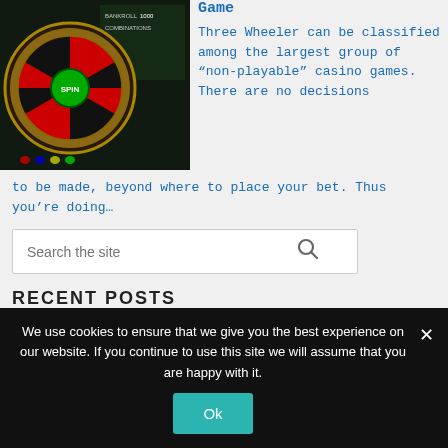[Figure (screenshot): Casino roulette wheel game screenshot with green SPIN button on dark background]
Game
Three Wheeler can be classified among the largest group of “non-playable” casino games. There are no decisions to be made, beyond where to place your bet. Thus you’re doing…
Search the site
RECENT POSTS
How to Earn Money Playing Chess Online
How to Play Three Wheeler Casino Game
How to Win Casino War with Perfect Gameplay
We use cookies to ensure that we give you the best experience on our website. If you continue to use this site we will assume that you are happy with it.